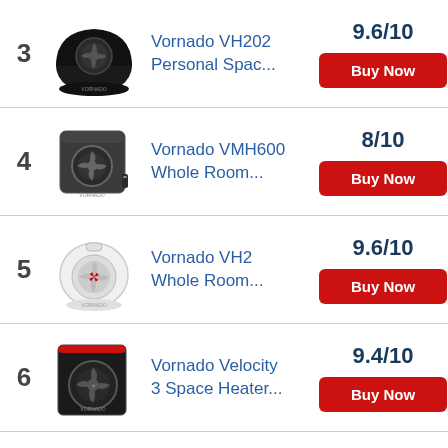3 Vornado VH202 Personal Spac... 9.6/10
4 Vornado VMH600 Whole Room... 8/10
5 Vornado VH2 Whole Room... 9.6/10
6 Vornado Velocity 3 Space Heater... 9.4/10